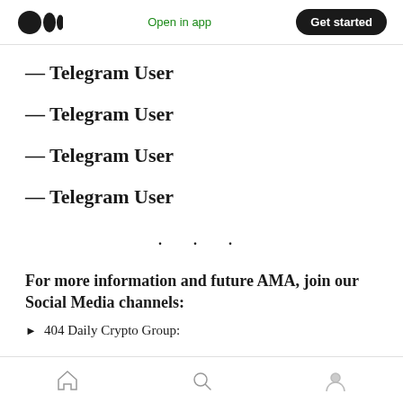Medium — Open in app  Get started
— Telegram User
— Telegram User
— Telegram User
— Telegram User
· · ·
For more information and future AMA, join our Social Media channels:
► 404 Daily Crypto Group: